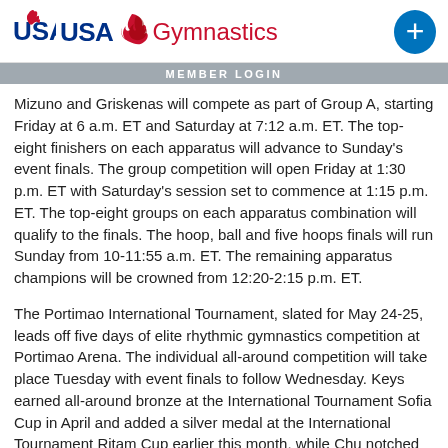USA Gymnastics
MEMBER LOGIN
Mizuno and Griskenas will compete as part of Group A, starting Friday at 6 a.m. ET and Saturday at 7:12 a.m. ET. The top-eight finishers on each apparatus will advance to Sunday's event finals. The group competition will open Friday at 1:30 p.m. ET with Saturday's session set to commence at 1:15 p.m. ET. The top-eight groups on each apparatus combination will qualify to the finals. The hoop, ball and five hoops finals will run Sunday from 10-11:55 a.m. ET. The remaining apparatus champions will be crowned from 12:20-2:15 p.m. ET.
The Portimao International Tournament, slated for May 24-25, leads off five days of elite rhythmic gymnastics competition at Portimao Arena. The individual all-around competition will take place Tuesday with event finals to follow Wednesday. Keys earned all-around bronze at the International Tournament Sofia Cup in April and added a silver medal at the International Tournament Ritam Cup earlier this month, while Chu notched bronze in Serbia. Chin, Chu and Keys also picked up the Ritam Cup junior team title and will look to extend an impressive